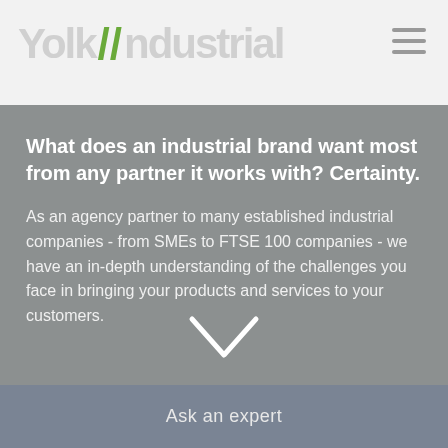YolkIndustrial
What does an industrial brand want most from any partner it works with? Certainty.
As an agency partner to many established industrial companies - from SMEs to FTSE 100 companies - we have an in-depth understanding of the challenges you face in bringing your products and services to your customers.
[Figure (illustration): Downward chevron arrow icon in white]
Ask an expert